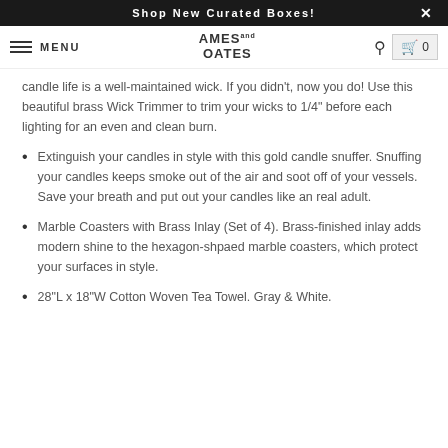Shop New Curated Boxes!
candle life is a well-maintained wick. If you didn't, now you do! Use this beautiful brass Wick Trimmer to trim your wicks to 1/4" before each lighting for an even and clean burn.
Extinguish your candles in style with this gold candle snuffer. Snuffing your candles keeps smoke out of the air and soot off of your vessels. Save your breath and put out your candles like an real adult.
Marble Coasters with Brass Inlay (Set of 4). Brass-finished inlay adds modern shine to the hexagon-shpaed marble coasters, which protect your surfaces in style.
28"L x 18"W Cotton Woven Tea Towel. Gray & White.